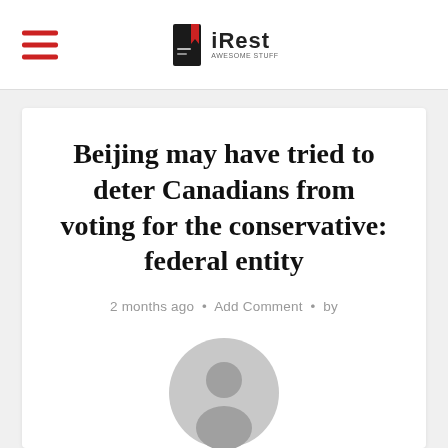iRest
Beijing may have tried to deter Canadians from voting for the conservative: federal entity
2 months ago · Add Comment · by